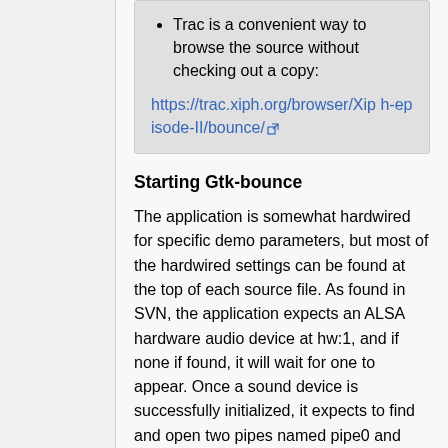Trac is a convenient way to browse the source without checking out a copy:
https://trac.xiph.org/browser/Xiph-episode-II/bounce/
Starting Gtk-bounce
The application is somewhat hardwired for specific demo parameters, but most of the hardwired settings can be found at the top of each source file. As found in SVN, the application expects an ALSA hardware audio device at hw:1, and if none if found, it will wait for one to appear. Once a sound device is successfully initialized, it expects to find and open two pipes named pipe0 and pipe1 for output in the current directory. In the video, the waveform and spectrum